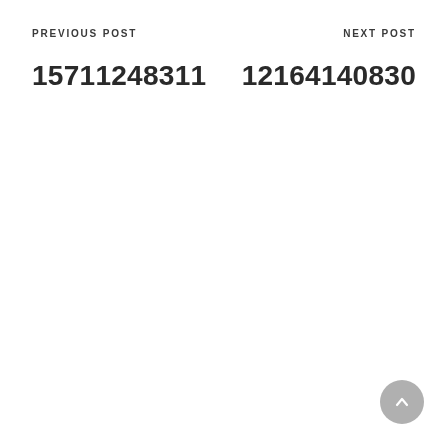PREVIOUS POST
NEXT POST
15711248311
12164140830